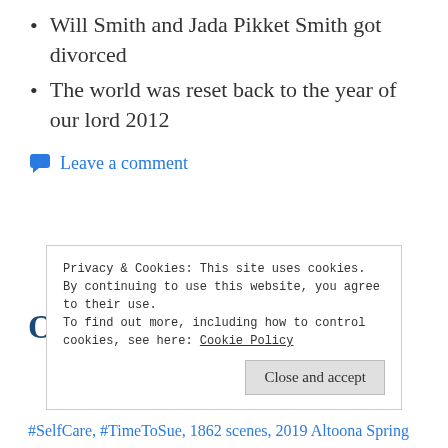Will Smith and Jada Pikket Smith got divorced
The world was reset back to the year of our lord 2012
Leave a comment
Other rules that Pitt is
Privacy & Cookies: This site uses cookies. By continuing to use this website, you agree to their use.
To find out more, including how to control cookies, see here: Cookie Policy
Close and accept
#SelfCare, #TimeToSue, 1862 scenes, 2019 Altoona Spring